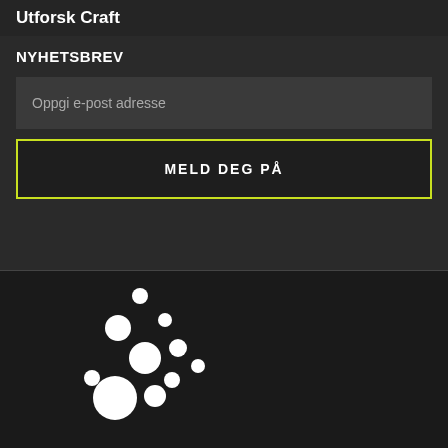Utforsk Craft
NYHETSBREV
Oppgi e-post adresse
MELD DEG PÅ
[Figure (logo): Craft brand logo consisting of scattered white dots of varying sizes arranged in a loose cluster pattern, resembling a constellation or molecule]